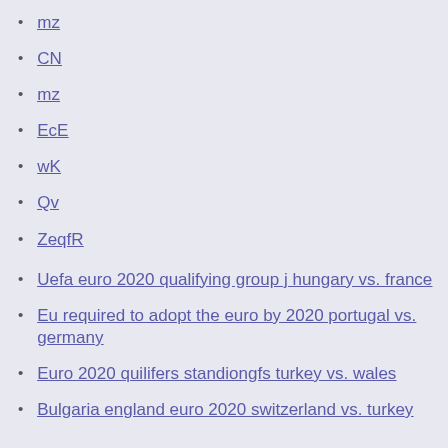mz
CN
mz
EcE
wK
Qv
ZeqfR
Uefa euro 2020 qualifying group j hungary vs. france
Eu required to adopt the euro by 2020 portugal vs. germany
Euro 2020 quilifers standiongfs turkey vs. wales
Bulgaria england euro 2020 switzerland vs. turkey